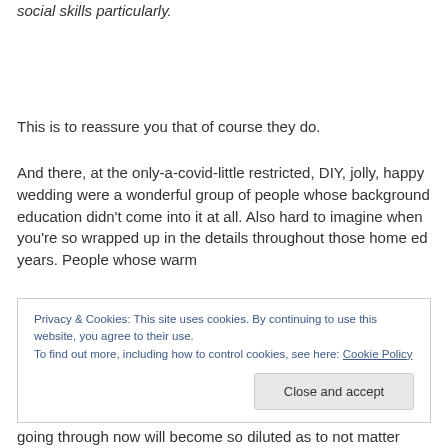social skills particularly.
This is to reassure you that of course they do.
And there, at the only-a-covid-little restricted, DIY, jolly, happy wedding were a wonderful group of people whose background education didn't come into it at all. Also hard to imagine when you're so wrapped up in the details throughout those home ed years. People whose warm
Privacy & Cookies: This site uses cookies. By continuing to use this website, you agree to their use.
To find out more, including how to control cookies, see here: Cookie Policy
going through now will become so diluted as to not matter